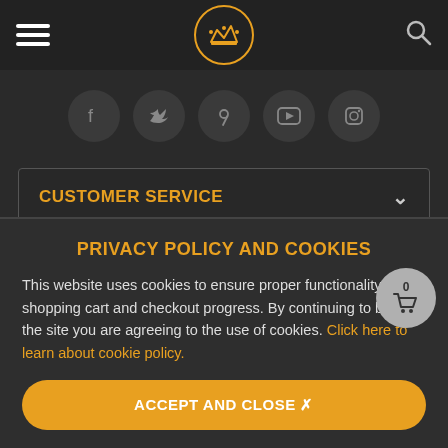Navigation bar with hamburger menu, crown logo, and search icon
[Figure (illustration): Social media icons row: Facebook, Twitter, Pinterest, YouTube, Instagram — each in a dark circle]
CUSTOMER SERVICE
PRIVACY POLICY AND COOKIES
This website uses cookies to ensure proper functionality of the shopping cart and checkout progress. By continuing to browse the site you are agreeing to the use of cookies. Click here to learn about cookie policy.
ACCEPT AND CLOSE ✕